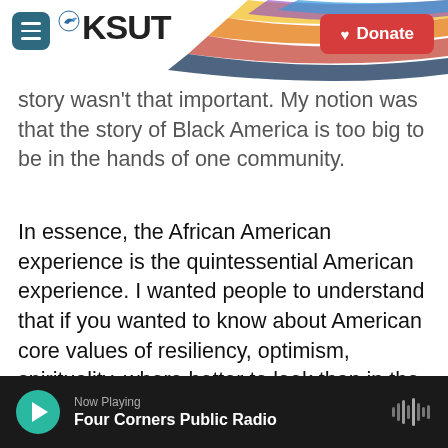[Figure (screenshot): KSUT public radio website header with hamburger menu, KSUT logo with bird icon, rainbow swoosh graphic, and red Donate button]
story wasn't that important. My notion was that the story of Black America is too big to be in the hands of one community.
In essence, the African American experience is the quintessential American experience. I wanted people to understand that if you wanted to know about American core values of resiliency, optimism, spirituality, where better to look than in the African American community? And if you wanted to understand the limits of the promise of America, if you want to understand those moments when that promise of America was expanded to many more, look at the African American community.
Now Playing — Four Corners Public Radio